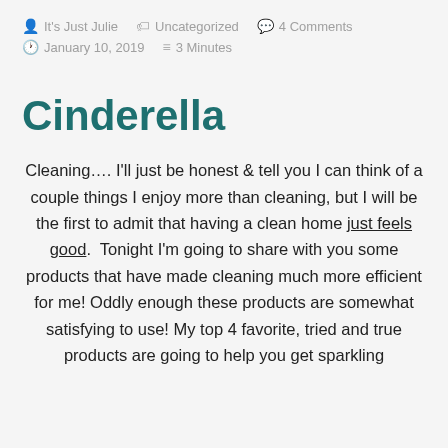It's Just Julie  Uncategorized  4 Comments  January 10, 2019  3 Minutes
Cinderella
Cleaning…. I'll just be honest & tell you I can think of a couple things I enjoy more than cleaning, but I will be the first to admit that having a clean home just feels good.  Tonight I'm going to share with you some products that have made cleaning much more efficient for me! Oddly enough these products are somewhat satisfying to use! My top 4 favorite, tried and true products are going to help you get sparkling